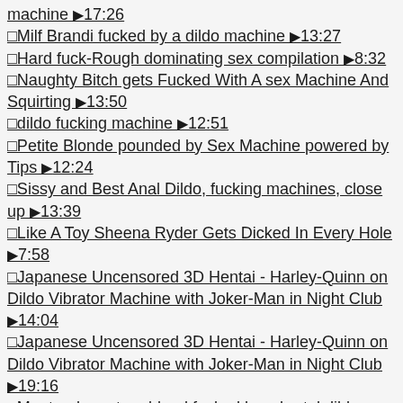machine ▶17:26
□Milf Brandi fucked by a dildo machine ▶13:27
□Hard fuck-Rough dominating sex compilation ▶8:32
□Naughty Bitch gets Fucked With A sex Machine And Squirting ▶13:50
□dildo fucking machine ▶12:51
□Petite Blonde pounded by Sex Machine powered by Tips ▶12:24
□Sissy and Best Anal Dildo, fucking machines, close up ▶13:39
□Like A Toy Sheena Ryder Gets Dicked In Every Hole ▶7:58
□Japanese Uncensored 3D Hentai - Harley-Quinn on Dildo Vibrator Machine with Joker-Man in Night Club ▶14:04
□Japanese Uncensored 3D Hentai - Harley-Quinn on Dildo Vibrator Machine with Joker-Man in Night Club ▶19:16
□Montreal amateur blond fucked by a brutal dildo machine ▶42:03
□First time painful anal | painal ▶10:53
□Sex Machine Review ▶19:08
□A brutal caning leaves her ass in pain ▶33:40